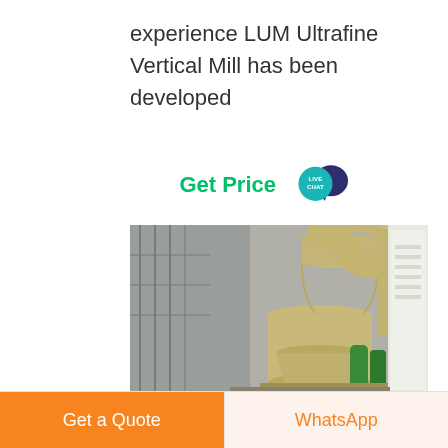experience LUM Ultrafine Vertical Mill has been developed
Get Price
[Figure (photo): Industrial vertical roller mill machinery in a factory setting, showing large beige/tan cylindrical grinding equipment with pipes and ducts, a white control cabinet on the right, green cylinders in background]
Vertical Roller Mill
Get a Quote
WhatsApp